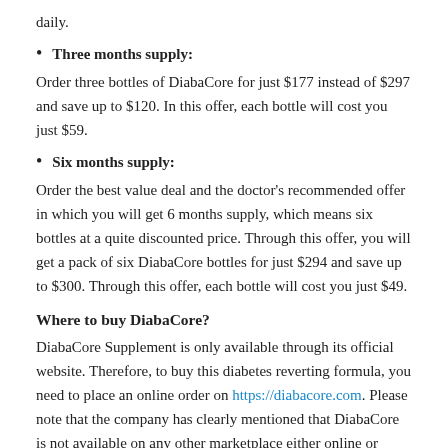daily.
Three months supply:
Order three bottles of DiabaCore for just $177 instead of $297 and save up to $120. In this offer, each bottle will cost you just $59.
Six months supply:
Order the best value deal and the doctor’s recommended offer in which you will get 6 months supply, which means six bottles at a quite discounted price. Through this offer, you will get a pack of six DiabaCore bottles for just $294 and save up to $300. Through this offer, each bottle will cost you just $49.
Where to buy DiabaCore?
DiabaCore Supplement is only available through its official website. Therefore, to buy this diabetes reverting formula, you need to place an online order on https://diabacore.com. Please note that the company has clearly mentioned that DiabaCore is not available on any other marketplace either online or offline. Therefore, if you find any other